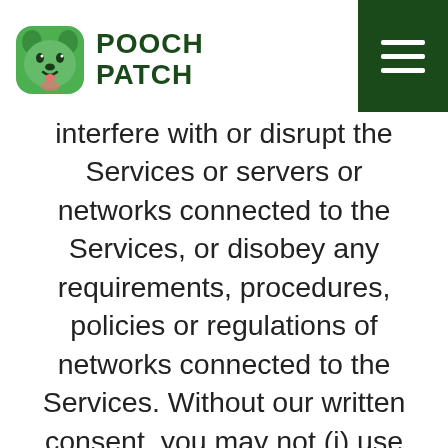Pooch Patch
interfere with or disrupt the Services or servers or networks connected to the Services, or disobey any requirements, procedures, policies or regulations of networks connected to the Services. Without our written consent, you may not (i) use any high volume, automated, or electronic means to access the Services (including, without limitation, robots, spiders or scripts); or (ii) frame the Site, place pop-up windows over its pages, or otherwise affect the display of